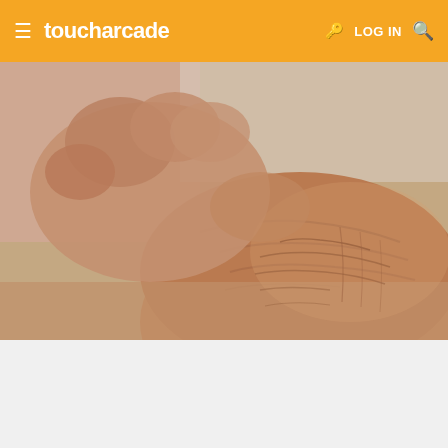toucharcade | LOG IN
[Figure (photo): Close-up photo of elderly hands, one hand massaging the wrist of the other, suggesting joint pain or arthritis]
Research Rheumatoid Arthritis Medication. See Rheumatoid Arthritis Treatment Options
Rheumatoid Arthritis Treatment | Yahoo Search
[Figure (photo): Partial view of a colorful illustrated or artistic image at the bottom of the screen]